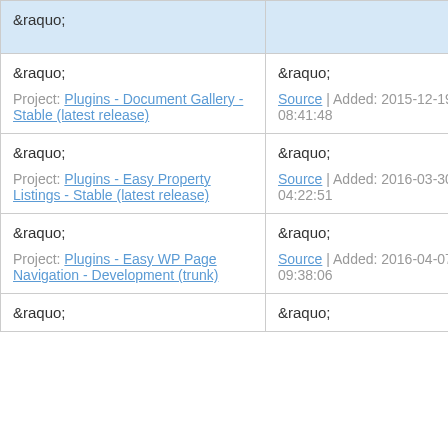| &raquo; | &raquo; |
| --- | --- |
| &raquo;
Project: Plugins - Document Gallery - Stable (latest release) | &raquo;
Source | Added: 2015-12-19 08:41:48 |
| &raquo;
Project: Plugins - Easy Property Listings - Stable (latest release) | &raquo;
Source | Added: 2016-03-30 04:22:51 |
| &raquo;
Project: Plugins - Easy WP Page Navigation - Development (trunk) | &raquo;
Source | Added: 2016-04-07 09:38:06 |
| &raquo; | &raquo; |